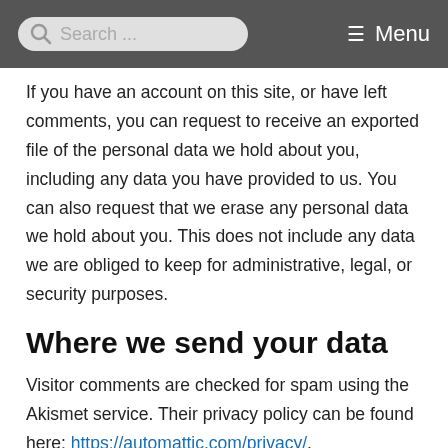Search ... Menu
If you have an account on this site, or have left comments, you can request to receive an exported file of the personal data we hold about you, including any data you have provided to us. You can also request that we erase any personal data we hold about you. This does not include any data we are obliged to keep for administrative, legal, or security purposes.
Where we send your data
Visitor comments are checked for spam using the Akismet service. Their privacy policy can be found here: https://automattic.com/privacy/.